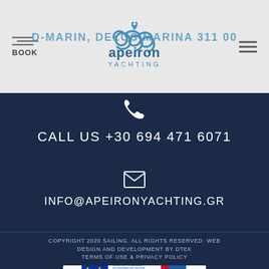D-MARIN, DELOS MARINA 311 00
[Figure (logo): Apeiron Yachting logo with wave symbol and text]
CALL US +30 694 471 6071
INFO@APEIRONYACHTING.GR
COPYRIGHT 2020 SAILING. ALL RIGHTS RESERVED. WEB DESIGN AND DEVELOPMENT BY DTEK TERMS OF USE & PRIVACY POLICY
[Figure (logo): ESPA/EPAnEK 2014-2020 EU co-financing banner. Co-financed by Greece and the European Union]